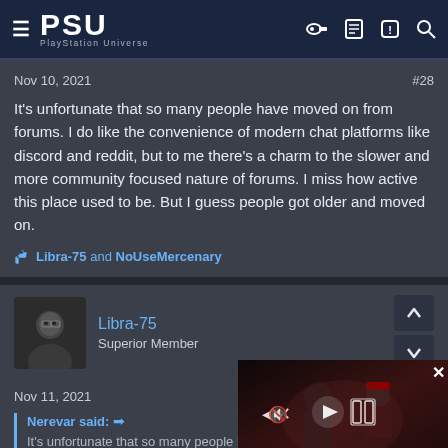PSU PlayStation Universe
Nov 10, 2021
#28
It's unfortunate that so many people have moved on from forums. I do like the convenience of modern chat platforms like discord and reddit, but to me there's a charm to the slower and more community focused nature of forums. I miss how active this place used to be. But I guess people got older and moved on.
👍 Libra-75 and NoUseMercenary
Libra-75
Superior Member
Nov 11, 2021
Nerevar said: ➡
It's unfortunate that so many people h... like the convenience of modern chat pl...
[Figure (screenshot): Video overlay showing two people in a game scene with caption: THE FIFTH AND FINAL SEASON OF COD: WARZONE WILL BEGIN ON AUGUST 24]